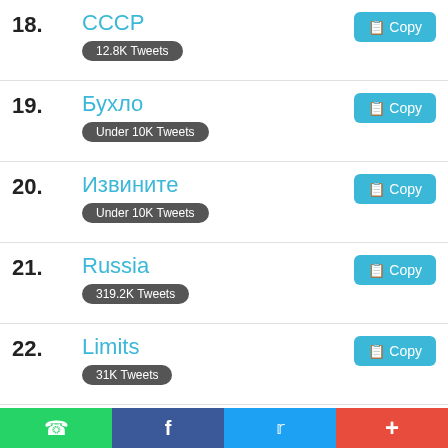18. СССР — 12.8K Tweets
19. Бухло — Under 10K Tweets
20. Извините — Under 10K Tweets
21. Russia — 319.2K Tweets
22. Limits — 31K Tweets
23. Like the Universe — Under 10K Tweets
24. Завтра — 12.5K Tweets